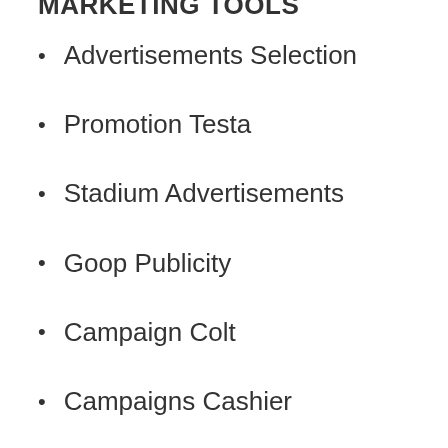Advertisements Selection
Promotion Testa
Stadium Advertisements
Goop Publicity
Campaign Colt
Campaigns Cashier
Havana Advertisement